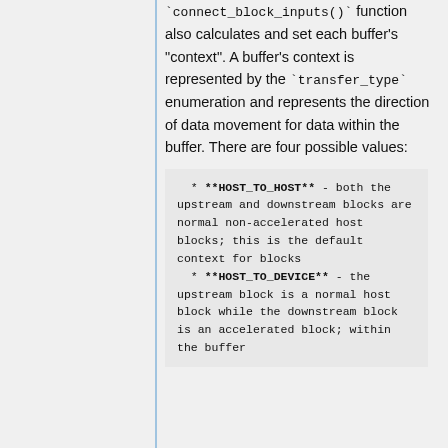`connect_block_inputs()` function also calculates and set each buffer's "context". A buffer's context is represented by the `transfer_type` enumeration and represents the direction of data movement for data within the buffer. There are four possible values:
* **HOST_TO_HOST** - both the upstream and downstream blocks are normal non-accelerated host blocks; this is the default context for blocks
  * **HOST_TO_DEVICE** - the upstream block is a normal host block while the downstream block is an accelerated block; within the buffer